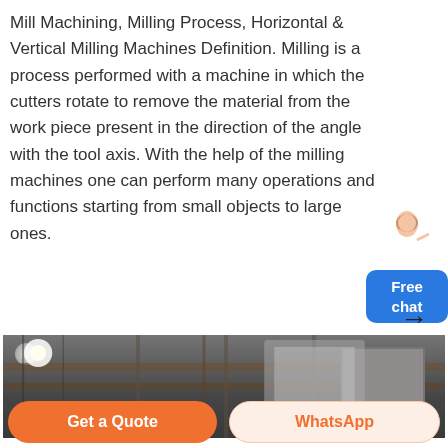Mill Machining, Milling Process, Horizontal & Vertical Milling Machines Definition. Milling is a process performed with a machine in which the cutters rotate to remove the material from the work piece present in the direction of the angle with the tool axis. With the help of the milling machines one can perform many operations and functions starting from small objects to large ones.
[Figure (other): Chat widget with avatar of a person and a blue 'Free chat' button]
[Figure (photo): Interior of an industrial workshop or factory with structural beams, lighting, and ventilation equipment visible]
Get a Quote
WhatsApp